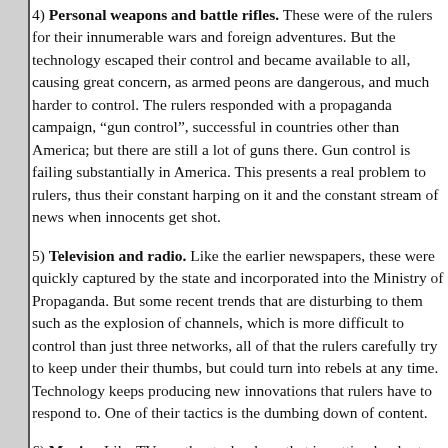4) Personal weapons and battle rifles. These were of the rulers for their innumerable wars and foreign adventures. But the technology escaped their control and became available to all, causing great concern, as armed peons are dangerous, and much harder to control. The rulers responded with a propaganda campaign, "gun control", successful in countries other than America; but there are still a lot of guns there. Gun control is failing substantially in America. This presents a real problem to rulers, thus their constant harping on it and the constant stream of news when innocents get shot.
5) Television and radio. Like the earlier newspapers, these were quickly captured by the state and incorporated into the Ministry of Propaganda. But some recent trends that are disturbing to them such as the explosion of channels, which is more difficult to control than just three networks, all of that the rulers carefully try to keep under their thumbs, but could turn into rebels at any time. Technology keeps producing new innovations that rulers have to respond to. One of their tactics is the dumbing down of content.
6) Movies. Like TV, another technology that is getting harder to control, mostly captured by the Ministry of Propaganda, still a fair amount of truth escapes from there and from independent producers. This is exacerbated by that movies are available over satellite and the Internet. A real headache for crazed rulers.
7) Internet. A technology originally designed for military use, but one that escaped their control, especially with the creation of the